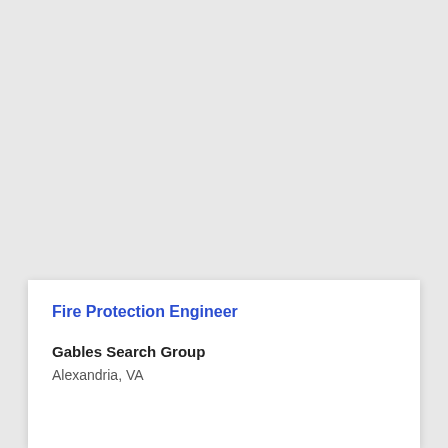Fire Protection Engineer
Gables Search Group
Alexandria, VA